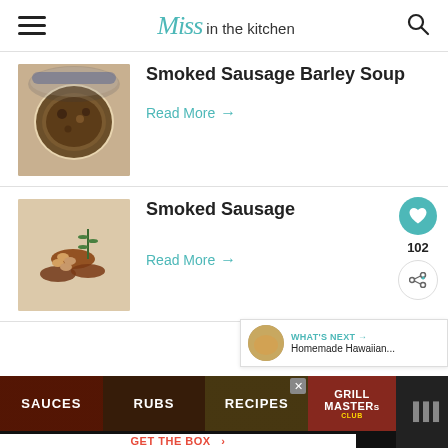Miss in the kitchen
[Figure (photo): Bowl of smoked sausage barley soup]
Smoked Sausage Barley Soup
Read More →
[Figure (photo): Smoked sausage on a cutting board with beans]
Smoked Sausage
Read More →
102
WHAT'S NEXT → Homemade Hawaiian...
[Figure (photo): Easy pizza dough image]
Easy Pizza Dough
[Figure (screenshot): Advertisement banner: SAUCES, RUBS, RECIPES, GRILL MASTERS - GET THE BOX]